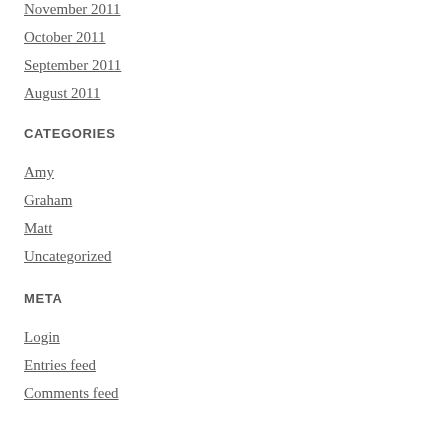November 2011
October 2011
September 2011
August 2011
CATEGORIES
Amy
Graham
Matt
Uncategorized
META
Login
Entries feed
Comments feed